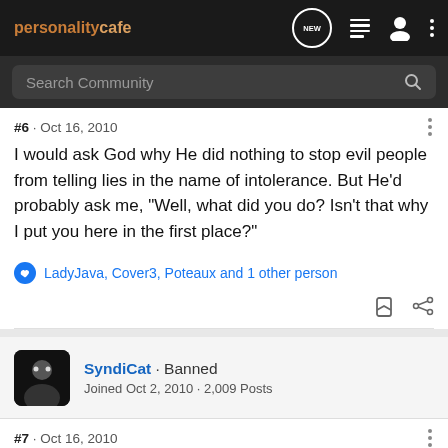personalitycafe
Search Community
#6 · Oct 16, 2010
I would ask God why He did nothing to stop evil people from telling lies in the name of intolerance. But He'd probably ask me, "Well, what did you do? Isn't that why I put you here in the first place?"
LadyJava, Cover3, Poteaux and 1 other person
SyndiCat · Banned
Joined Oct 2, 2010 · 2,009 Posts
#7 · Oct 16, 2010